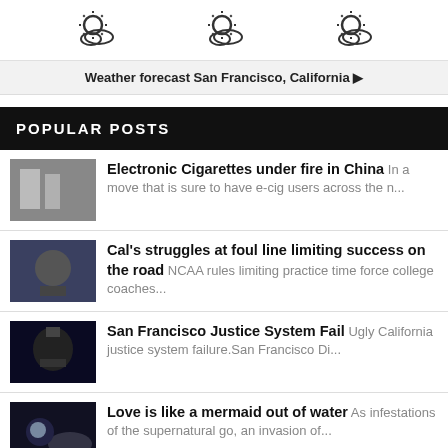[Figure (illustration): Three weather icons showing partly cloudy / sun with clouds]
Weather forecast San Francisco, California ▶
POPULAR POSTS
[Figure (photo): Thumbnail image for Electronic Cigarettes article]
Electronic Cigarettes under fire in China In a move that is sure to have e-cig users across the n...
[Figure (photo): Thumbnail image for Cal's struggles article (basketball player)]
Cal's struggles at foul line limiting success on the road NCAA rules limiting practice time force college coaches...
[Figure (photo): Thumbnail image for San Francisco Justice System Fail (city hall at night)]
San Francisco Justice System Fail Ugly California justice system failure.San Francisco Di...
[Figure (photo): Thumbnail image for Love is like a mermaid out of water]
Love is like a mermaid out of water As infestations of the supernatural go, an invasion of...
[Figure (photo): Thumbnail image for Flat Rate Shipping article]
Flat Rate Shipping Now Available for